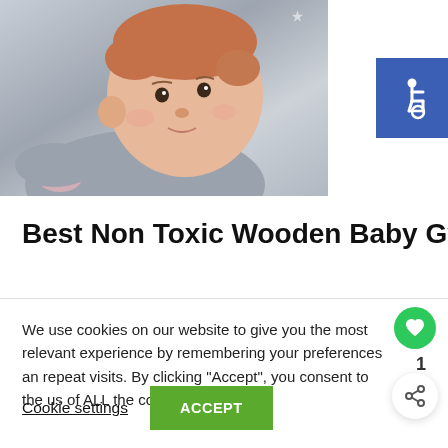[Figure (photo): A baby with reddish hair lying on a gray fabric with white stars, looking upward]
[Figure (other): Blue accessibility icon button showing wheelchair symbol]
Best Non Toxic Wooden Baby Gym for
We use cookies on our website to give you the most relevant experience by remembering your preferences and repeat visits. By clicking “Accept”, you consent to the use of ALL the cookies.
Cookie settings  ACCEPT